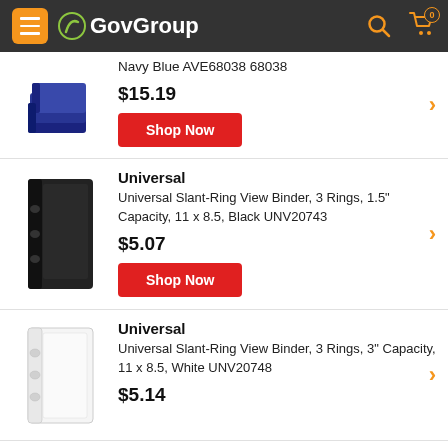GovGroup
Navy Blue AVE68038 68038
$15.19
Shop Now
Universal
Universal Slant-Ring View Binder, 3 Rings, 1.5" Capacity, 11 x 8.5, Black UNV20743
$5.07
Shop Now
Universal
Universal Slant-Ring View Binder, 3 Rings, 3" Capacity, 11 x 8.5, White UNV20748
$5.14